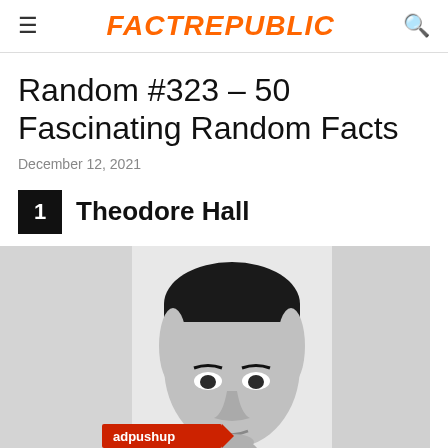FactRepublic
Random #323 – 50 Fascinating Random Facts
December 12, 2021
1  Theodore Hall
[Figure (photo): Black and white photograph of Theodore Hall, a man with dark hair, facing forward, neutral expression. Image has light gray panels on left and right sides. An 'adpushup' red label badge is overlaid in the lower-left area of the image.]